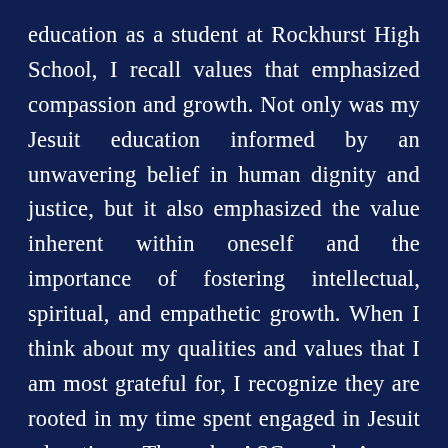education as a student at Rockhurst High School, I recall values that emphasized compassion and growth. Not only was my Jesuit education informed by an unwavering belief in human dignity and justice, but it also emphasized the value inherent within oneself and the importance of fostering intellectual, spiritual, and empathetic growth. When I think about my qualities and values that I am most grateful for, I recognize they are rooted in my time spent engaged in Jesuit education. Through ASC and Arrupe Jesuit High School, I will have the opportunity to re-engage with those important values alongside the men and